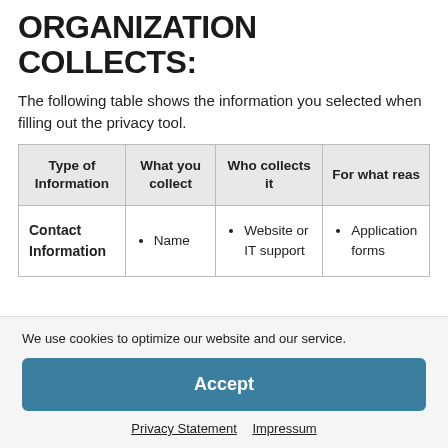ORGANIZATION COLLECTS:
The following table shows the information you selected when filling out the privacy tool.
| Type of Information | What you collect | Who collects it | For what reason |
| --- | --- | --- | --- |
| Contact Information | Name | Website or IT support | Application forms |
We use cookies to optimize our website and our service.
Accept
Privacy Statement   Impressum